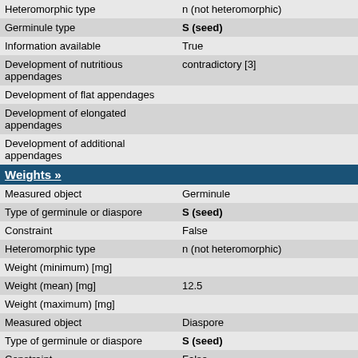| Property | Value |
| --- | --- |
| Heteromorphic type | n (not heteromorphic) |
| Germinule type | S (seed) |
| Information available | True |
| Development of nutritious appendages | contradictory [3] |
| Development of flat appendages |  |
| Development of elongated appendages |  |
| Development of additional appendages |  |
| SECTION: Weights » |  |
| Measured object | Germinule |
| Type of germinule or diaspore | S (seed) |
| Constraint | False |
| Heteromorphic type | n (not heteromorphic) |
| Weight (minimum) [mg] |  |
| Weight (mean) [mg] | 12.5 |
| Weight (maximum) [mg] |  |
| Measured object | Diaspore |
| Type of germinule or diaspore | S (seed) |
| Constraint | False |
| Heteromorphic type | n (not heteromorphic) |
| Weight (minimum) [mg] |  |
| Weight (mean) [mg] | 12.5 |
| Weight (maximum) [mg] |  |
| SECTION: Sizes » |  |
| Measured object | Germinule |
| Type of germinule or diaspore | S (seed) |